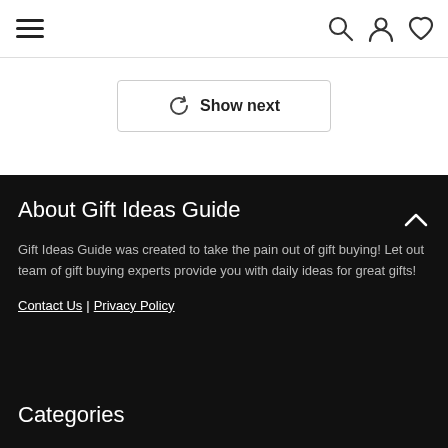Navigation header with hamburger menu and icons
Show next
About Gift Ideas Guide
Gift Ideas Guide was created to take the pain out of gift buying! Let out team of gift buying experts provide you with daily ideas for great gifts!
Contact Us | Privacy Policy
Categories